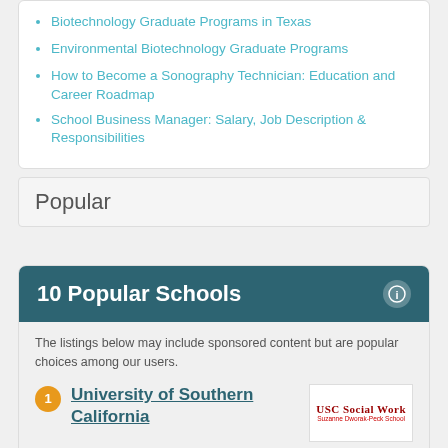Biotechnology Graduate Programs in Texas
Environmental Biotechnology Graduate Programs
How to Become a Sonography Technician: Education and Career Roadmap
School Business Manager: Salary, Job Description & Responsibilities
Popular
10 Popular Schools
The listings below may include sponsored content but are popular choices among our users.
1 University of Southern California